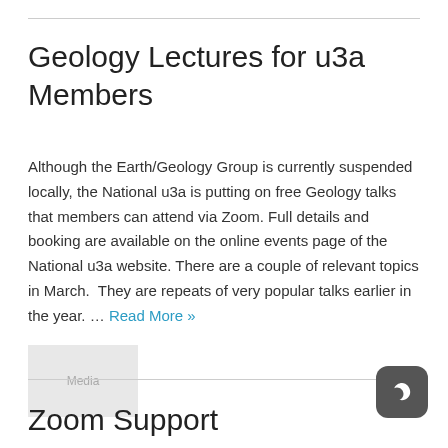Geology Lectures for u3a Members
Although the Earth/Geology Group is currently suspended locally, the National u3a is putting on free Geology talks that members can attend via Zoom. Full details and booking are available on the online events page of the National u3a website. There are a couple of relevant topics in March.  They are repeats of very popular talks earlier in the year. … Read More »
[Figure (photo): Small grey placeholder image thumbnail]
Zoom Support